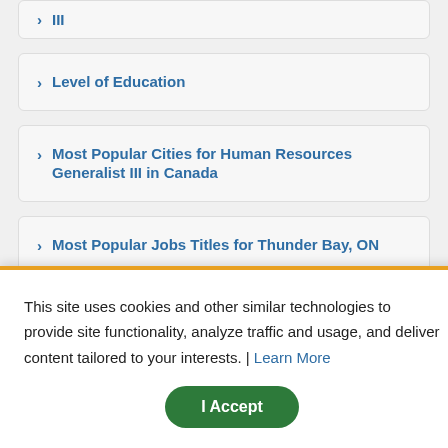III
Level of Education
Most Popular Cities for Human Resources Generalist III in Canada
Most Popular Jobs Titles for Thunder Bay, ON
This site uses cookies and other similar technologies to provide site functionality, analyze traffic and usage, and deliver content tailored to your interests. | Learn More
I Accept